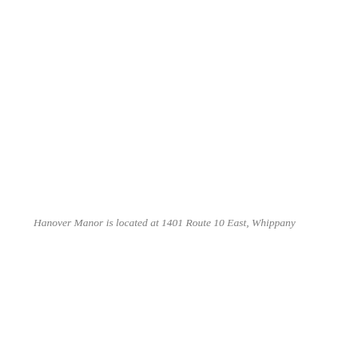Hanover Manor is located at 1401 Route 10 East, Whippany